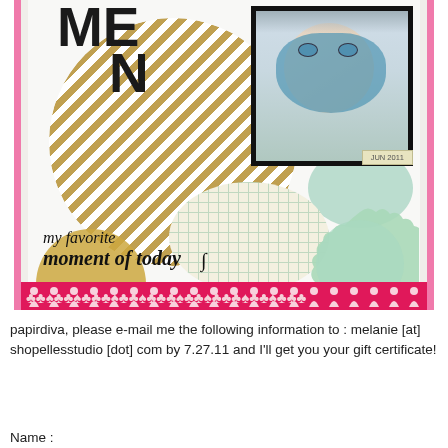[Figure (photo): Scrapbook layout page with decorative elements: a large gold and white diagonal-striped circle, bold dark letters 'ME' and 'N', a photo of a person with a blue face mask, date stamp 'JUN 2011', cream circle with grid pattern, mint/green decorative circles, italic text 'my favorite moment of today', a tan half-circle, and a pink bottom banner with small figure icons]
papirdiva, please e-mail me the following information to : melanie [at] shopellesstudio [dot] com by 7.27.11 and I'll get you your gift certificate!
Name :